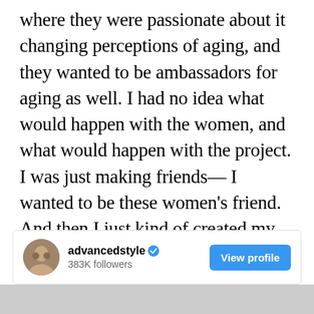where they were passionate about it changing perceptions of aging, and they wanted to be ambassadors for aging as well. I had no idea what would happen with the women, and what would happen with the project. I was just making friends— I wanted to be these women's friend. And then I just kind of created my dream life in a way, looking back on it— going to all of these parties with all of these incredibly dressed older women, going on adventures. It was a really special time.
[Figure (screenshot): Instagram profile card for advancedstyle showing avatar photo, username with verified badge, 383K followers count, and a blue 'View profile' button]